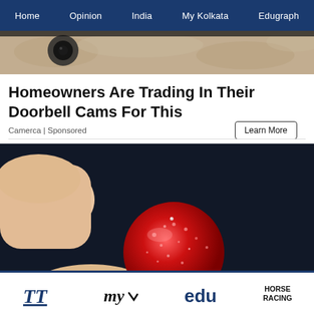Home | Opinion | India | My Kolkata | Edugraph
[Figure (photo): Partial top image of a doorbell camera on a stone wall background]
Homeowners Are Trading In Their Doorbell Cams For This
Camerca | Sponsored
[Figure (photo): Hand holding a red sugar-coated gummy candy against a dark background]
TT | my | edu | HORSE RACING